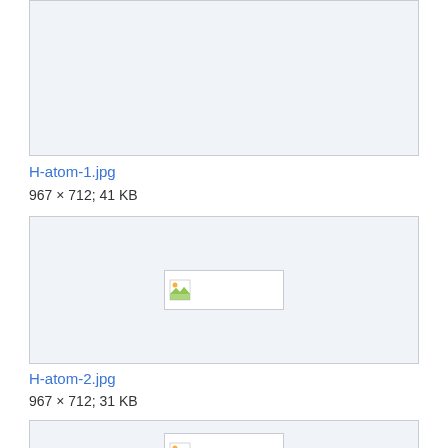[Figure (photo): Top image box - partially cropped at top, light gray background with image placeholder]
H-atom-1.jpg
967 × 712; 41 KB
[Figure (photo): Middle image box with broken image icon placeholder centered]
H-atom-2.jpg
967 × 712; 31 KB
[Figure (photo): Bottom image box partially visible with broken image icon placeholder centered]